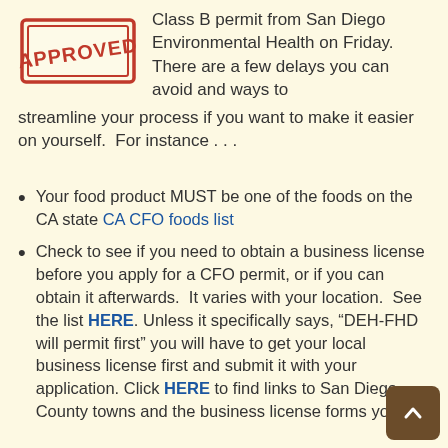[Figure (illustration): Red 'APPROVED' stamp graphic with bold text and double border in red on white background]
Class B permit from San Diego Environmental Health on Friday.  There are a few delays you can avoid and ways to streamline your process if you want to make it easier on yourself.  For instance . . .
Your food product MUST be one of the foods on the CA state CA CFO foods list
Check to see if you need to obtain a business license before you apply for a CFO permit, or if you can obtain it afterwards.  It varies with your location.  See the list HERE. Unless it specifically says, “DEH-FHD will permit first” you will have to get your local business license first and submit it with your application. Click HERE to find links to San Diego County towns and the business license forms you